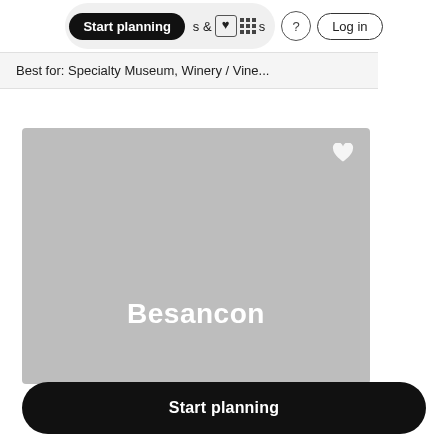Start planning  & Activities  ? Log in
Best for: Specialty Museum, Winery / Vine...
[Figure (photo): Gray placeholder image card showing the text 'Besancon' in white bold font, with a white heart icon in the top-right corner.]
Start planning